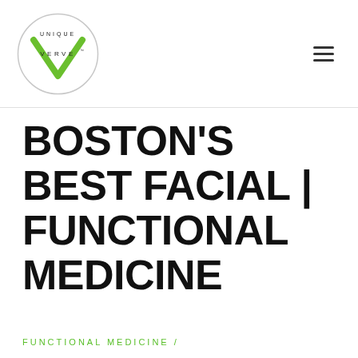Unique Verve logo and navigation
BOSTON'S BEST FACIAL | FUNCTIONAL MEDICINE
FUNCTIONAL MEDICINE /